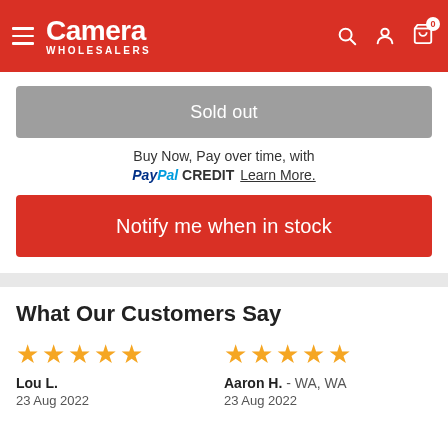[Figure (screenshot): Camera Wholesalers website header with red background, hamburger menu, Camera Wholesalers logo in white, and search/account/cart icons on the right]
[Figure (screenshot): Grey 'Sold out' button]
Buy Now, Pay over time, with PayPal CREDIT Learn More.
[Figure (screenshot): Red 'Notify me when in stock' button]
What Our Customers Say
★★★★★ Lou L. 23 Aug 2022
★★★★★ Aaron H. - WA, WA 23 Aug 2022